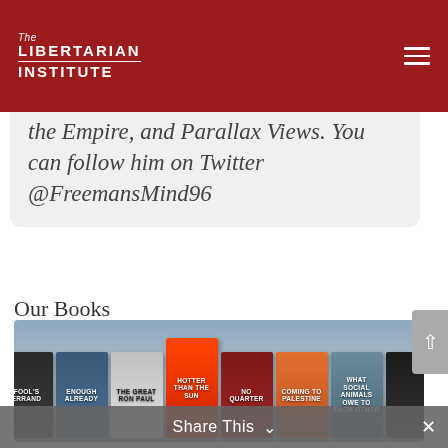The Libertarian Institute
the Empire, and Parallax Views. You can follow him on Twitter @FreemansMind96
Our Books
[Figure (photo): A row of book covers for Libertarian Institute books including Fool's Errand, Enough Already, The Great Ron Paul, Hotter Than the Sun, No Quarter, Coming to Palestine, What Social Animals Owe to Each Other, and others, displayed against a grey-blue gradient background.]
Share This